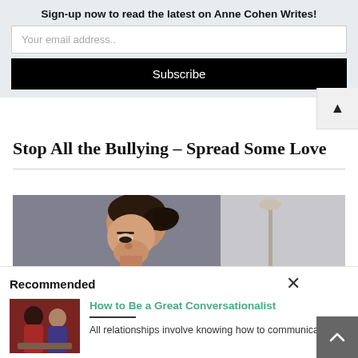Sign-up now to read the latest on Anne Cohen Writes!
Your email address..
Subscribe
Stop All the Bullying – Spread Some Love
[Figure (photo): A woman with dark hair in a ponytail looking down, photographed against a gray wall background, with a lamp visible in the background right side.]
Recommended
[Figure (photo): Thumbnail image of two women sitting together talking, one in a red top.]
How to Be a Great Conversationalist
All relationships involve knowing how to communicate.